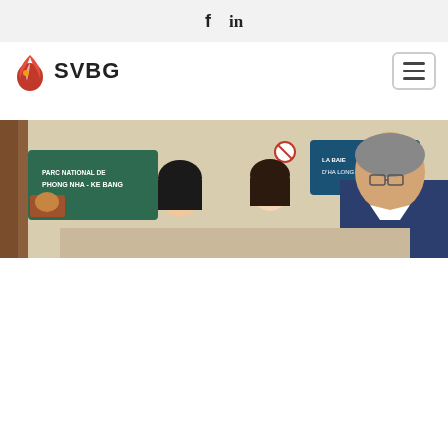f  in
[Figure (logo): SVBG logo with red flame/leaf icon and text SVBG]
[Figure (photo): Photo of people at an exhibition booth with signs reading 'PARC NATIONAL DE PHONG NHA - KE BANG' and 'LA BAIE D'HA LONG'. An older man in a blue suit leans over to look at something, with two women nearby.]